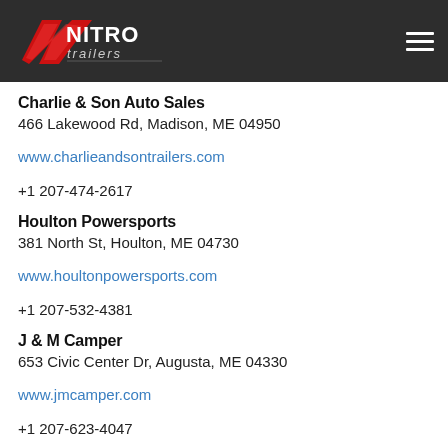Nitro Trailers — navigation header
Charlie & Son Auto Sales
466 Lakewood Rd, Madison, ME 04950
www.charlieandsontrailers.com
+1 207-474-2617
Houlton Powersports
381 North St, Houlton, ME 04730
www.houltonpowersports.com
+1 207-532-4381
J & M Camper
653 Civic Center Dr, Augusta, ME 04330
www.jmcamper.com
+1 207-623-4047
On the Road
2243 Camden Rd, Warren, ME 04864